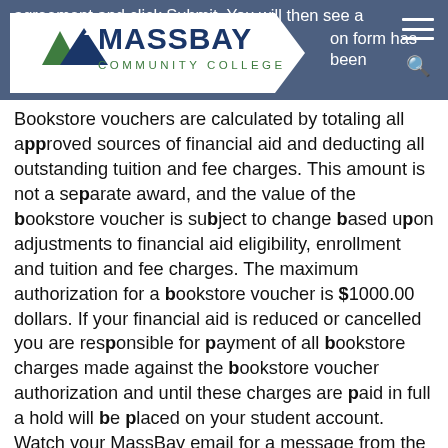agreement and click Submit. You will then see a [confirmation] form has been [submitted]
[Figure (logo): MassBay Community College logo with chevron/arrow shape background]
Bookstore vouchers are calculated by totaling all approved sources of financial aid and deducting all outstanding tuition and fee charges. This amount is not a separate award, and the value of the bookstore voucher is subject to change based upon adjustments to financial aid eligibility, enrollment and tuition and fee charges. The maximum authorization for a bookstore voucher is $1000.00 dollars. If your financial aid is reduced or cancelled you are responsible for payment of all bookstore charges made against the bookstore voucher authorization and until these charges are paid in full a hold will be placed on your student account. Watch your MassBay email for a message from the Student Accounts